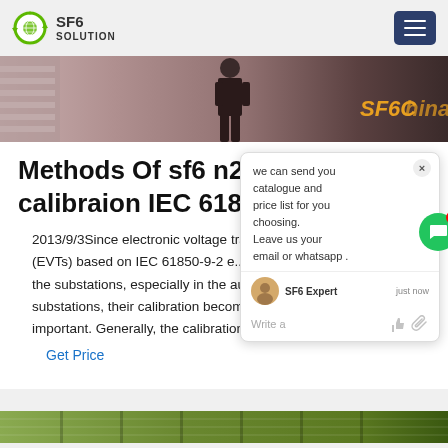SF6 SOLUTION
[Figure (photo): Hero banner image with a person in a substation, with SF6China text overlay in orange]
Methods Of sf6 n2 calibraion IEC 618
2013/9/3Since electronic voltage transformers (EVTs) based on IEC 61850-9-2 e... in the substations, especially in the automating substations, their calibration becomes very important. Generally, the calibration
Get Price
[Figure (screenshot): Chat popup widget with message: we can send you catalogue and price list for you choosing. Leave us your email or whatsapp. SF6 Expert agent shown with just now timestamp and Write a message input row.]
[Figure (photo): Bottom strip showing green industrial equipment or outdoor scene]